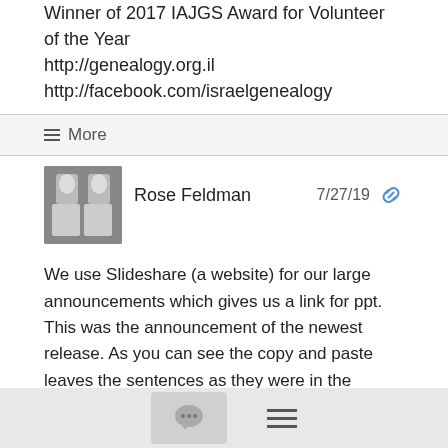Winner of 2017 IAJGS Award for Volunteer of the Year
http://genealogy.org.il
http://facebook.com/israelgenealogy
≡ More
Rose Feldman   7/27/19
We use Slideshare (a website) for our large announcements which gives us a link for ppt.
This was the announcement of the newest release. As you can see the copy and paste leaves the sentences as they were in the announcement on the JG discussion list.
Subject: IGRA - new and updated databases on its website
From: Elena Bazes <elena@...>
Date: Fri, 26 Jul 2019 10:32:22 +0300